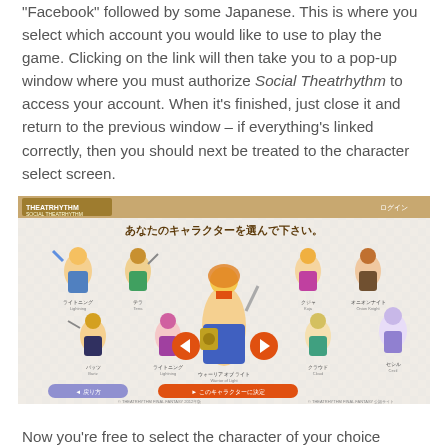"Facebook" followed by some Japanese. This is where you select which account you would like to use to play the game. Clicking on the link will then take you to a pop-up window where you must authorize Social Theatrhythm to access your account. When it's finished, just close it and return to the previous window – if everything's linked correctly, then you should next be treated to the character select screen.
[Figure (screenshot): Screenshot of the Social Theatrhythm character select screen showing multiple chibi-style Final Fantasy characters arranged in a grid with Japanese text, navigation arrows, and selection buttons at the bottom.]
Now you're free to select the character of your choice